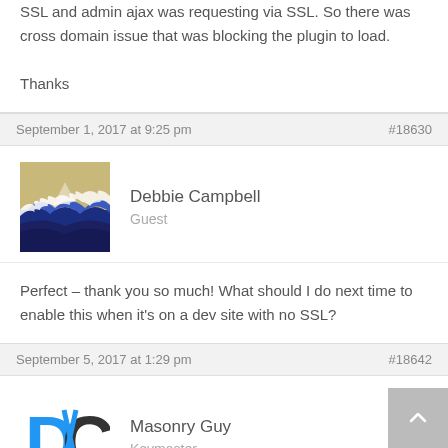SSL and admin ajax was requesting via SSL. So there was cross domain issue that was blocking the plugin to load.

Thanks
September 1, 2017 at 9:25 pm
#18630
[Figure (photo): Avatar image showing The Great Wave off Kanagawa painting]
Debbie Campbell
Guest
Perfect – thank you so much! What should I do next time to enable this when it's on a dev site with no SSL?
September 5, 2017 at 1:29 pm
#18642
[Figure (logo): Masonry Guy logo - stylized DX letters in blue and dark grey]
Masonry Guy
Keymaster